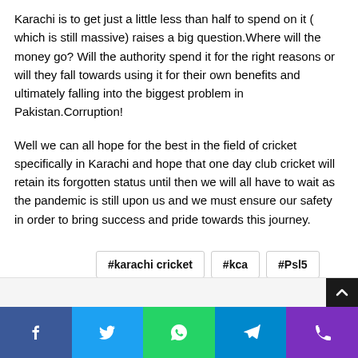Karachi is to get just a little less than half to spend on it ( which is still massive) raises a big question.Where will the money go? Will the authority spend it for the right reasons or will they fall towards using it for their own benefits and ultimately falling into the biggest problem in Pakistan.Corruption!
Well we can all hope for the best in the field of cricket specifically in Karachi and hope that one day club cricket will retain its forgotten status until then we will all have to wait as the pandemic is still upon us and we must ensure our safety in order to bring success and pride towards this journey.
#karachi cricket
#kca
#Psl5